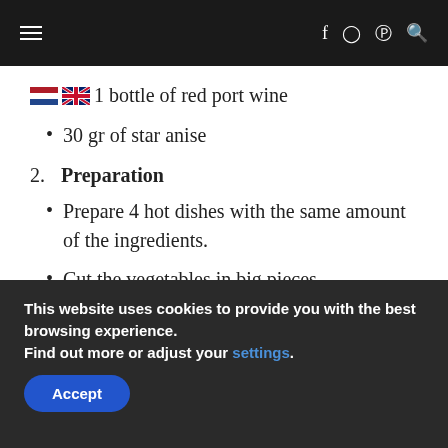≡  f  ⊙  ℗  🔍
🇳🇱 🇬🇧 1 bottle of red port wine
30 gr of star anise
2. Preparation
Prepare 4 hot dishes with the same amount of the ingredients.
Cut the vegetables in big pieces.
Roast 1 hot dish at the time for 45
This website uses cookies to provide you with the best browsing experience.
Find out more or adjust your settings.